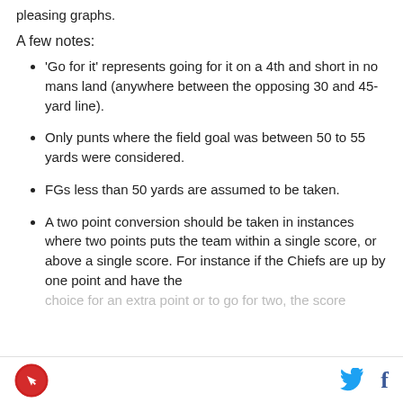pleasing graphs.
A few notes:
'Go for it' represents going for it on a 4th and short in no mans land (anywhere between the opposing 30 and 45-yard line).
Only punts where the field goal was between 50 to 55 yards were considered.
FGs less than 50 yards are assumed to be taken.
A two point conversion should be taken in instances where two points puts the team within a single score, or above a single score. For instance if the Chiefs are up by one point and have the choice for an extra point or to go for two, the score
Logo | Twitter | Facebook